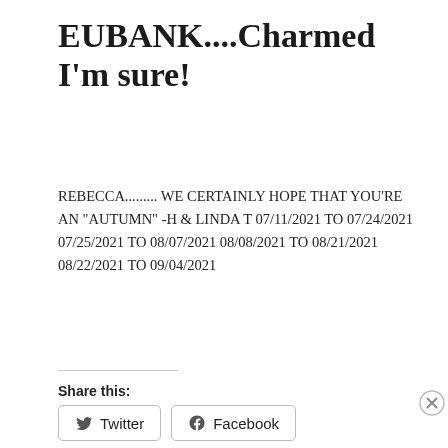EUBANK....Charmed I'm sure!
REBECCA......... WE CERTAINLY HOPE THAT YOU'RE AN "AUTUMN" -H & LINDA T 07/11/2021 TO 07/24/2021 07/25/2021 TO 08/07/2021 08/08/2021 TO 08/21/2021 08/22/2021 TO 09/04/2021
Share this:
[Figure (other): Share buttons for Twitter and Facebook]
[Figure (other): Bloomingdales advertisement banner: bloomingdales, View Today's Top Deals!, SHOP NOW >]